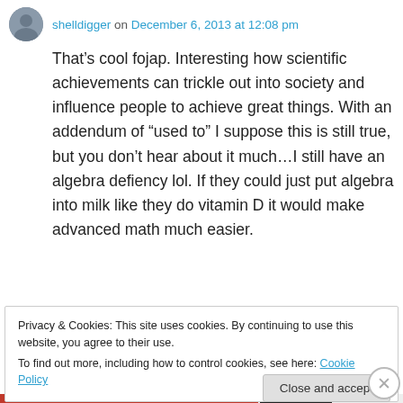shelldigger on December 6, 2013 at 12:08 pm
That’s cool fojap. Interesting how scientific achievements can trickle out into society and influence people to achieve great things. With an addendum of “used to” I suppose this is still true, but you don’t hear about it much…I still have an algebra defiency lol. If they could just put algebra into milk like they do vitamin D it would make advanced math much easier.
★ Liked by 1 person
Privacy & Cookies: This site uses cookies. By continuing to use this website, you agree to their use.
To find out more, including how to control cookies, see here: Cookie Policy
Close and accept